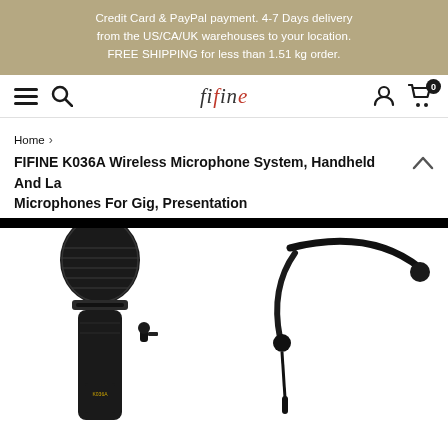Credit Card & PayPal payment. 4-7 Days delivery from the US/CA/UK warehouses to your location. FREE SHIPPING for less than 1.51 kg order.
[Figure (logo): fifine brand logo and navigation bar with hamburger menu, search icon, user icon, and cart icon showing 0 items]
Home >
FIFINE K036A Wireless Microphone System, Handheld And La Microphones For Gig, Presentation
[Figure (photo): Product photo showing FIFINE K036A wireless microphone system components: handheld microphone, lavalier/clip-on microphone, and headset microphone on white background]